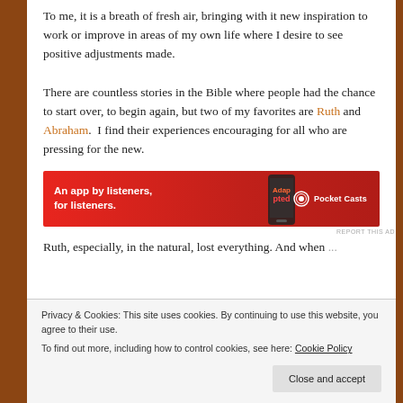To me, it is a breath of fresh air, bringing with it new inspiration to work or improve in areas of my own life where I desire to see positive adjustments made.
There are countless stories in the Bible where people had the chance to start over, to begin again, but two of my favorites are Ruth and Abraham. I find their experiences encouraging for all who are pressing for the new.
[Figure (infographic): Advertisement banner for Pocket Casts app: red background with text 'An app by listeners, for listeners.' and Pocket Casts logo with phone image.]
REPORT THIS AD
Ruth, especially, in the natural, lost everything. And when...
Privacy & Cookies: This site uses cookies. By continuing to use this website, you agree to their use.
To find out more, including how to control cookies, see here: Cookie Policy